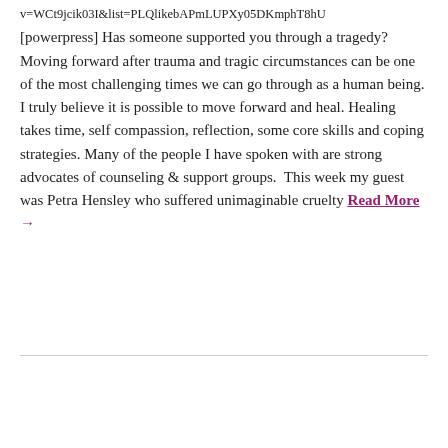v=WCt9jcik03I&list=PLQlikebAPmLUPXy05DKmphT8hU
[powerpress] Has someone supported you through a tragedy? Moving forward after trauma and tragic circumstances can be one of the most challenging times we can go through as a human being. I truly believe it is possible to move forward and heal. Healing takes time, self compassion, reflection, some core skills and coping strategies. Many of the people I have spoken with are strong advocates of counseling & support groups.  This week my guest was Petra Hensley who suffered unimaginable cruelty Read More →